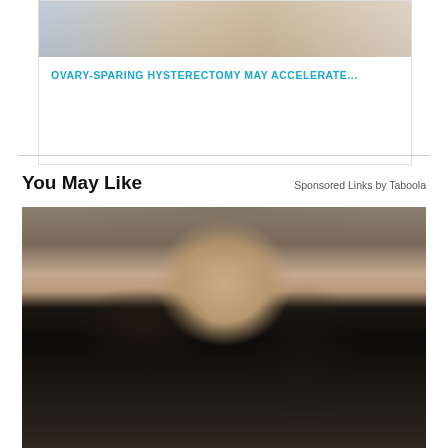[Figure (photo): Partial advertisement card showing two people at top (cropped) with watch visible, on white background with light border]
OVARY-SPARING HYSTERECTOMY MAY ACCELERATE...
You May Like
Sponsored Links by Taboola
[Figure (photo): Photo of a woman with long dark hair, smiling, wearing a dark blazer, seated in what appears to be an office or professional setting]